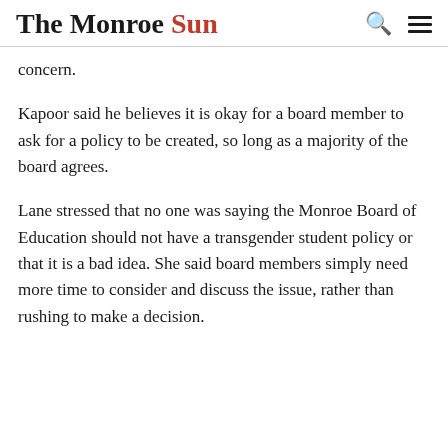The Monroe Sun
concern.
Kapoor said he believes it is okay for a board member to ask for a policy to be created, so long as a majority of the board agrees.
Lane stressed that no one was saying the Monroe Board of Education should not have a transgender student policy or that it is a bad idea. She said board members simply need more time to consider and discuss the issue, rather than rushing to make a decision.